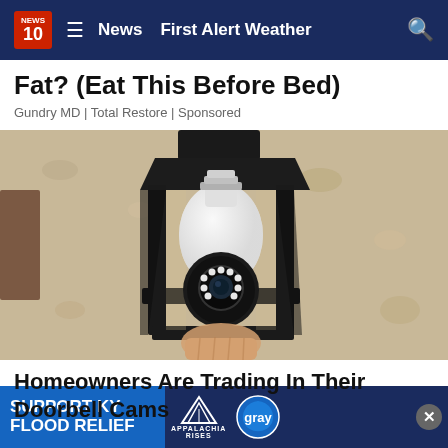News 10 | News | First Alert Weather
Fat? (Eat This Before Bed)
Gundry MD | Total Restore | Sponsored
[Figure (photo): A security camera shaped like a light bulb installed inside a black metal outdoor wall lantern fixture mounted on a stucco wall. A hand is visible holding the device from below.]
Homeowners Are Trading In Their Doorbell Cams
[Figure (infographic): Support KY Flood Relief banner advertisement with Appalachia Rises and Gray Television logos]